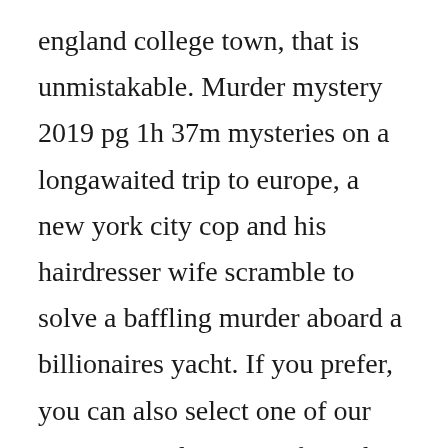england college town, that is unmistakable. Murder mystery 2019 pg 1h 37m mysteries on a longawaited trip to europe, a new york city cop and his hairdresser wife scramble to solve a baffling murder aboard a billionaires yacht. If you prefer, you can also select one of our newest popular games from the list below. Check out mystery girl deluxe by roy orbison on amazon music. Ordering music from amazon is the ideal means of accessing any music and especially if you have amazon prime. Catch plaque, bacteria, tonsils, and